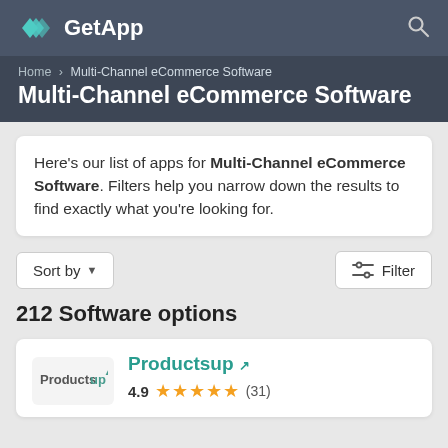GetApp
Multi-Channel eCommerce Software
Here's our list of apps for Multi-Channel eCommerce Software. Filters help you narrow down the results to find exactly what you're looking for.
Sort by ▼
Filter
212 Software options
Productsup
4.9 ★★★★★ (31)